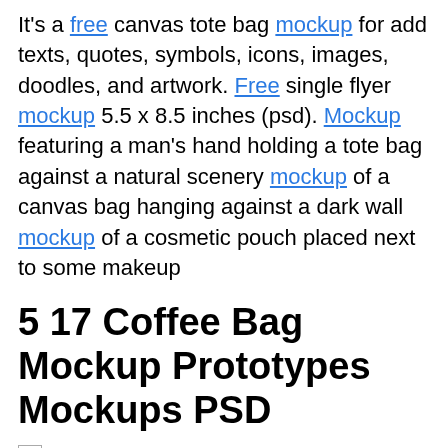It's a free canvas tote bag mockup for add texts, quotes, symbols, icons, images, doodles, and artwork. Free single flyer mockup 5.5 x 8.5 inches (psd). Mockup featuring a man's hand holding a tote bag against a natural scenery mockup of a canvas bag hanging against a dark wall mockup of a cosmetic pouch placed next to some makeup
5 17 Coffee Bag Mockup Prototypes Mockups PSD
[Figure (other): Broken image icon followed by alt text: Apparel apple watch artwork mockups bag mockups billboards book mockups bottle mockups box mockups branding mockups]